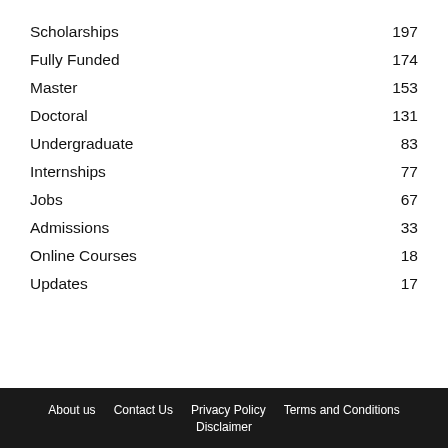Scholarships 197
Fully Funded 174
Master 153
Doctoral 131
Undergraduate 83
Internships 77
Jobs 67
Admissions 33
Online Courses 18
Updates 17
About us  Contact Us  Privacy Policy  Terms and Conditions  Disclaimer